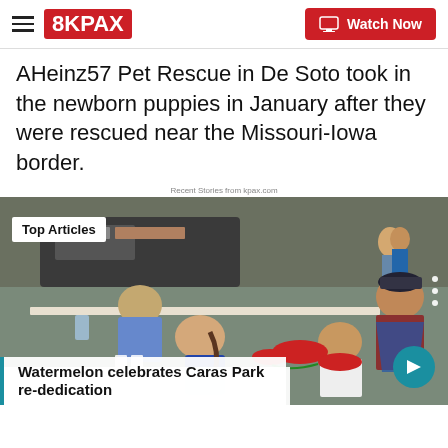8KPAX | Watch Now
AHeinz57 Pet Rescue in De Soto took in the newborn puppies in January after they were rescued near the Missouri-Iowa border.
Recent Stories from kpax.com
[Figure (photo): Outdoor event scene with people seated at tables being served watermelon slices by a man in a blue apron and cap. A 'Top Articles' badge is visible in the top-left. Navigation arrows and pause button overlay the image. Caption reads: Watermelon celebrates Caras Park re-dedication]
Watermelon celebrates Caras Park re-dedication